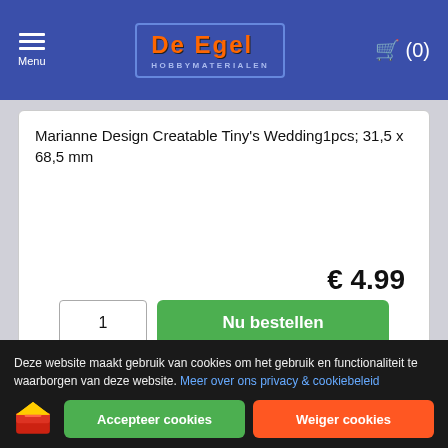De Egel Hobbymaterialen — Menu — Cart (0)
Marianne Design Creatable Tiny's Wedding1pcs; 31,5 x 68,5 mm
€ 4.99
1 | Nu bestellen
[Figure (photo): Product image of a die-cutting set with decorative wavy stripe pattern, displayed on packaging with two small characters at top]
Deze website maakt gebruik van cookies om het gebruik en functionaliteit te waarborgen van deze website. Meer over ons privacy & cookiebeleid
Accepteer cookies | Weiger cookies